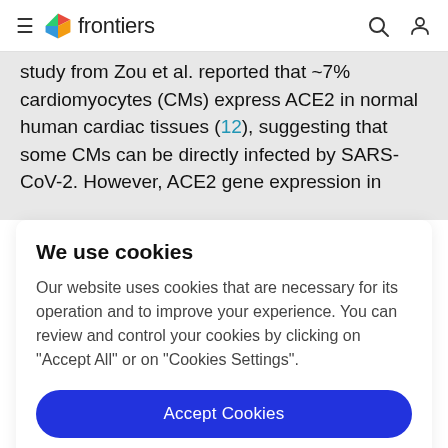frontiers
study from Zou et al. reported that ~7% cardiomyocytes (CMs) express ACE2 in normal human cardiac tissues (12), suggesting that some CMs can be directly infected by SARS-CoV-2. However, ACE2 gene expression in
We use cookies
Our website uses cookies that are necessary for its operation and to improve your experience. You can review and control your cookies by clicking on "Accept All" or on "Cookies Settings".
Accept Cookies
Cookies Settings